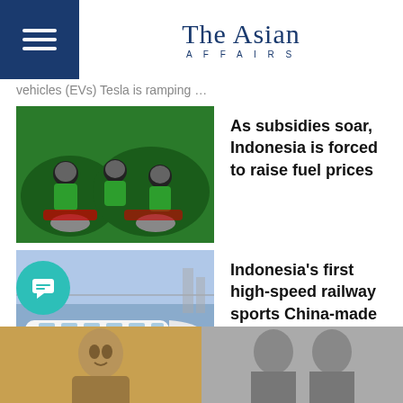The Asian Affairs
vehicles (EVs) Tesla is ramping …
As subsidies soar, Indonesia is forced to raise fuel prices
Indonesia's first high-speed railway sports China-made trains
Largest tech firm in Indonesia have plummeted following a massive first-half loss
ENTERTAINMENT